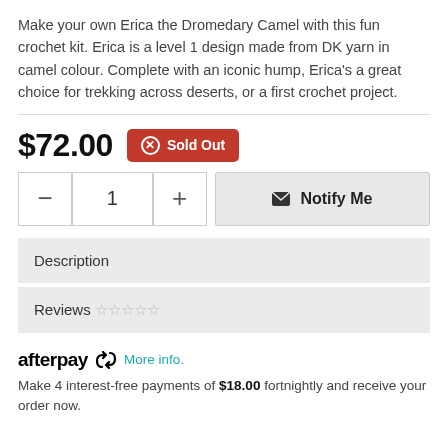Make your own Erica the Dromedary Camel with this fun crochet kit. Erica is a level 1 design made from DK yarn in camel colour. Complete with an iconic hump, Erica's a great choice for trekking across deserts, or a first crochet project.
$72.00 Sold Out
− 1 + Notify Me
Description
Reviews ☆ ☆ ☆ ☆ ☆
[Figure (logo): Afterpay logo with recycling arrow icon]
More info.
Make 4 interest-free payments of $18.00 fortnightly and receive your order now.